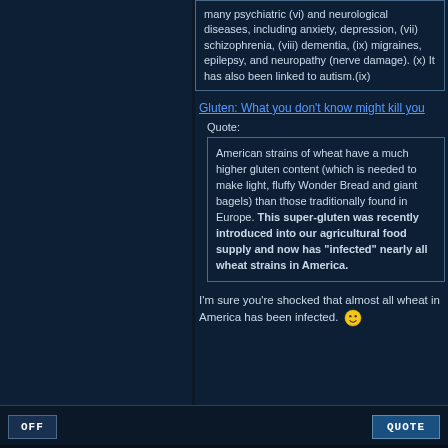many psychiatric (vi) and neurological diseases, including anxiety, depression, (vii) schizophrenia, (viii) dementia, (ix) migraines, epilepsy, and neuropathy (nerve damage). (x) It has also been linked to autism.(ix)
Gluten: What you don't know might kill you
Quote:
American strains of wheat have a much higher gluten content (which is needed to make light, fluffy Wonder Bread and giant bagels) than those traditionally found in Europe. This super-gluten was recently introduced into our agricultural food supply and now has "infected" nearly all wheat strains in America.
I'm sure you're shocked that almost all wheat in America has been infected. 🙂
OFF    QUOTE